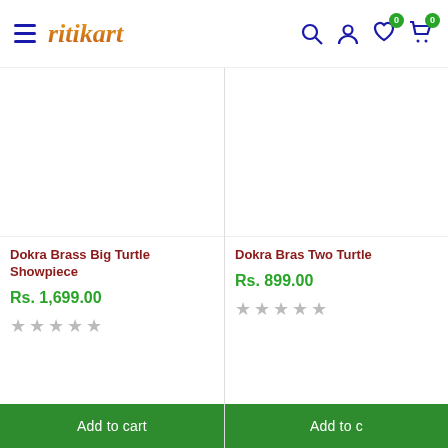ritikart — navigation header with search, account, wishlist (0), cart (0)
[Figure (photo): Product image area for Dokra Brass Big Turtle Showpiece (white/empty image area)]
Dokra Brass Big Turtle Showpiece
Rs. 1,699.00
★★★★★ (0 stars rating)
Add to cart
[Figure (photo): Product image area for Dokra Bras Two Turtle (white/empty image area, partially visible)]
Dokra Bras Two Turtle
Rs. 899.00
★★★★★ (0 stars rating)
Add to c